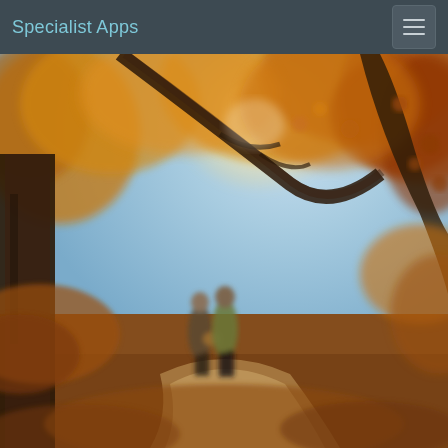Specialist Apps
[Figure (photo): Autumn forest scene with two people walking on a path covered in fallen leaves. Trees with orange and golden foliage surround the path. Bright sunlight filters through the canopy. One person carries a basket.]